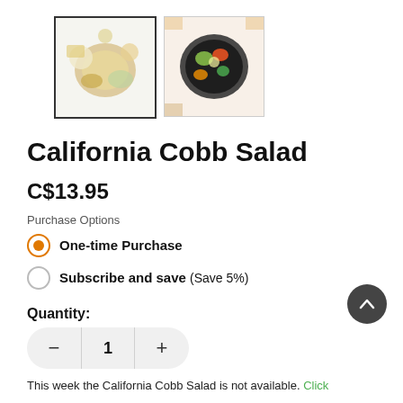[Figure (photo): Two thumbnail images of California Cobb Salad: first shows ingredients laid out, second shows finished salad in a bowl from above]
California Cobb Salad
C$13.95
Purchase Options
One-time Purchase
Subscribe and save (Save 5%)
Quantity:
1
This week the California Cobb Salad is not available. Click